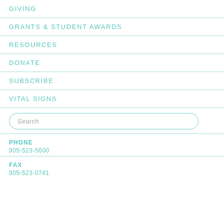GIVING
GRANTS & STUDENT AWARDS
RESOURCES
DONATE
SUBSCRIBE
VITAL SIGNS
Search
PHONE
905-523-5600
FAX
905-523-0741